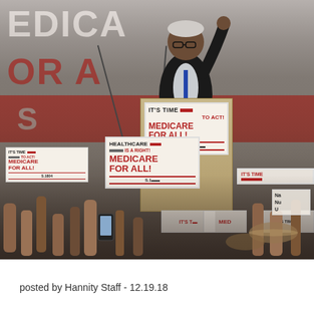[Figure (photo): A man (Bernie Sanders) at a podium at a rally, arm raised, with crowd holding Medicare for All signs. Background banner reads 'MEDICARE FOR ALL'. Podium sign reads 'IT'S TIME TO ACT! MEDICARE FOR ALL! S.1804'. Crowd signs read 'IT'S TIME TO ACT! MEDICARE FOR ALL! S.1804' and 'HEALTHCARE IS A RIGHT! MEDICARE FOR ALL! S.1804'.]
posted by Hannity Staff - 12.19.18